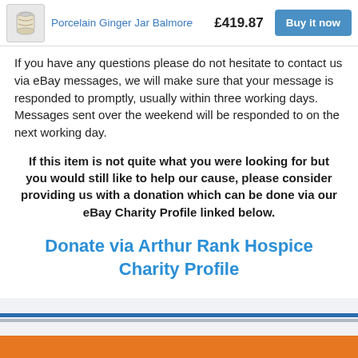Porcelain Ginger Jar Balmor… £419.87 Buy it now
If you have any questions please do not hesitate to contact us via eBay messages, we will make sure that your message is responded to promptly, usually within three working days. Messages sent over the weekend will be responded to on the next working day.
If this item is not quite what you were looking for but you would still like to help our cause, please consider providing us with a donation which can be done via our eBay Charity Profile linked below.
Donate via Arthur Rank Hospice Charity Profile